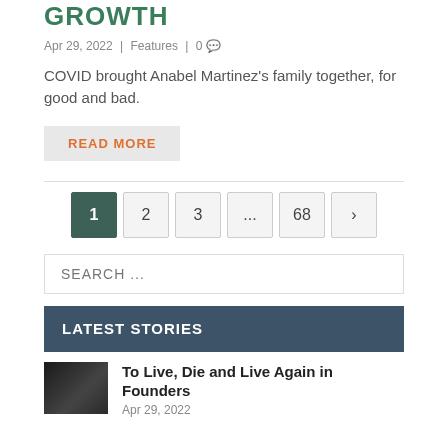GROWTH
Apr 29, 2022 | Features | 0
COVID brought Anabel Martinez's family together, for good and bad.
READ MORE
1 2 3 ... 68 >
SEARCH ...
LATEST STORIES
To Live, Die and Live Again in Founders
Apr 29, 2022